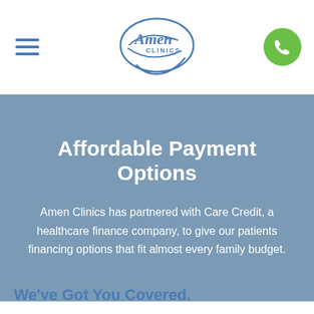Amen Clinics [logo] [hamburger menu] [phone button]
Affordable Payment Options
Amen Clinics has partnered with Care Credit, a healthcare finance company, to give our patients financing options that fit almost every family budget.
We've Got You Covered.